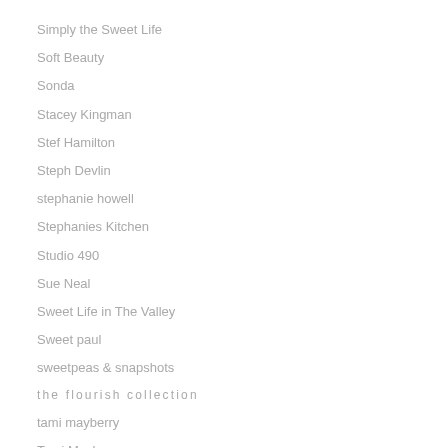Simply the Sweet Life
Soft Beauty
Sonda
Stacey Kingman
Stef Hamilton
Steph Devlin
stephanie howell
Stephanies Kitchen
Studio 490
Sue Neal
Sweet Life in The Valley
Sweet paul
sweetpeas & snapshots
the flourish collection
tami mayberry
Tami Mayberry
TARA STRAWBERRY
Tarisota Collections